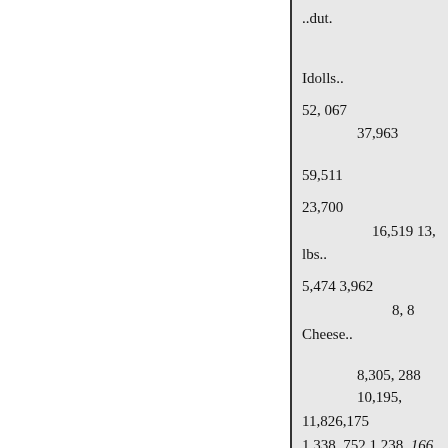..dut.
Idolls..
52, 067
37,963
59,511
23,700
16,519 13,
lbs..
5,474 3,962
8, 8
Cheese..
8,305, 288 10,195,
11,826,175
1,338, 752 1,238, 166 1, 42
1,450, 657 Milk